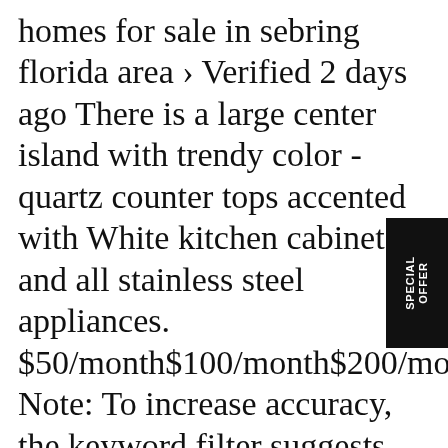homes for sale in sebring florida area › Verified 2 days ago There is a large center island with trendy color - quartz counter tops accented with White kitchen cabinets and all stainless steel appliances. $50/month$100/month$200/month$300/month Note: To increase accuracy, the keyword filter suggests the most commonly searched terms. Search Sebring, FL 3387 homes for sale, real estate, and MLS Listings. FREE Market Analysis; Open Houses; Search for Homes. View listing photos, review sales history, and use our detailed real estate filters to find the
[Figure (other): Black vertical badge with white rotated text reading 'SPECIAL OFFER']